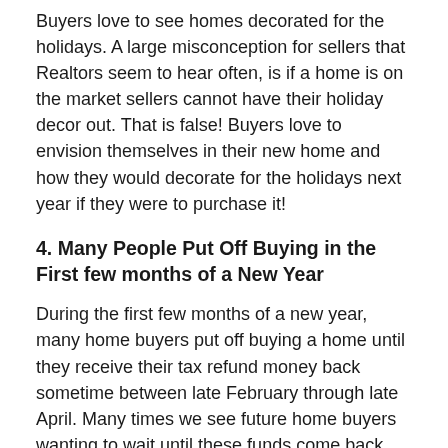Buyers love to see homes decorated for the holidays. A large misconception for sellers that Realtors seem to hear often, is if a home is on the market sellers cannot have their holiday decor out. That is false! Buyers love to envision themselves in their new home and how they would decorate for the holidays next year if they were to purchase it!
4. Many People Put Off Buying in the First few months of a New Year
During the first few months of a new year, many home buyers put off buying a home until they receive their tax refund money back sometime between late February through late April. Many times we see future home buyers wanting to wait until these funds come back, as they are relying on using this towards the down payment for their home. Listing your home in January when not as many buyers are looking or waiting to list in February when the market begins to become more saturated with listings